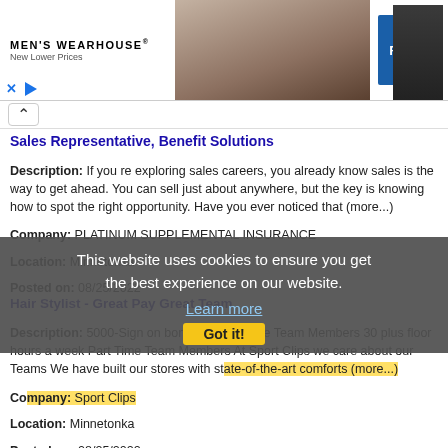[Figure (screenshot): Men's Wearhouse advertisement banner with couple in formal wear and a RENT button]
Sales Representative, Benefit Solutions
Description: If you re exploring sales careers, you already know sales is the way to get ahead. You can sell just about anywhere, but the key is knowing how to spot the right opportunity. Have you ever noticed that (more...)
Company: PLATINUM SUPPLEMENTAL INSURANCE
Location: Minnetonka
Posted on: 08/25/2022
[Figure (screenshot): Cookie consent overlay: This website uses cookies to ensure you get the best experience on our website. Learn more. Got it!]
Hair Stylist - Great Pay Great Team
Description: 5000-Sign on bonus for Full Time Team Members 30 plus floor hours a week Part Time Team Members At Sport Clips we care about our Teams We have built our stores with state-of-the-art comforts (more...)
Company: Sport Clips
Location: Minnetonka
Posted on: 08/25/2022